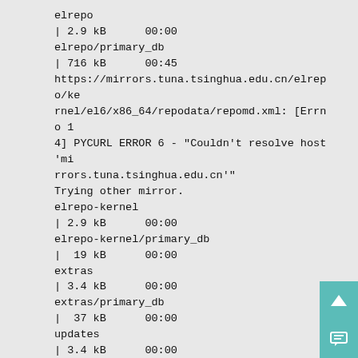elrepo
| 2.9 kB      00:00
elrepo/primary_db
| 716 kB      00:45
https://mirrors.tuna.tsinghua.edu.cn/elrepo/kernel/el6/x86_64/repodata/repomd.xml: [Errno 14] PYCURL ERROR 6 - "Couldn't resolve host 'mirrors.tuna.tsinghua.edu.cn'"
Trying other mirror.
elrepo-kernel
| 2.9 kB      00:00
elrepo-kernel/primary_db
|  19 kB      00:00
extras
| 3.4 kB      00:00
extras/primary_db
|  37 kB      00:00
updates
| 3.4 kB      00:00
updates/primary_db
| 2.0 MB      00:01
Setting up Install Process
Resolving Dependencies